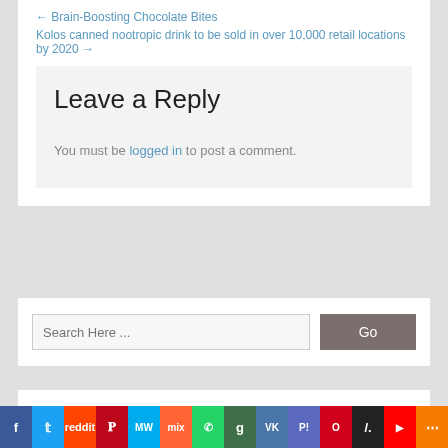← Brain-Boosting Chocolate Bites
Kolos canned nootropic drink to be sold in over 10,000 retail locations by 2020 →
Leave a Reply
You must be logged in to post a comment.
Search Here ...
[Figure (screenshot): Social sharing bar with icons for Facebook, Twitter, Reddit, Pinterest, MeWe, Mix, WhatsApp, Gab, VKontakte, Plurk, Outlook, Slashdot, YouTube, and More]